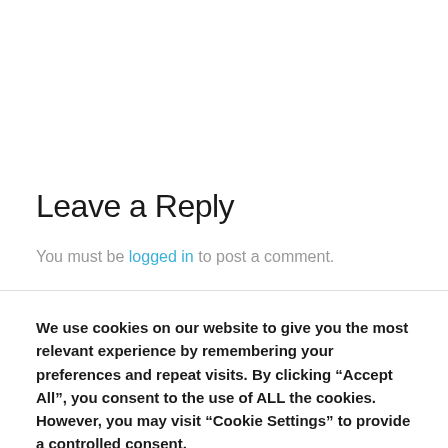Leave a Reply
You must be logged in to post a comment.
We use cookies on our website to give you the most relevant experience by remembering your preferences and repeat visits. By clicking “Accept All”, you consent to the use of ALL the cookies. However, you may visit “Cookie Settings” to provide a controlled consent.
Settings | Accept All